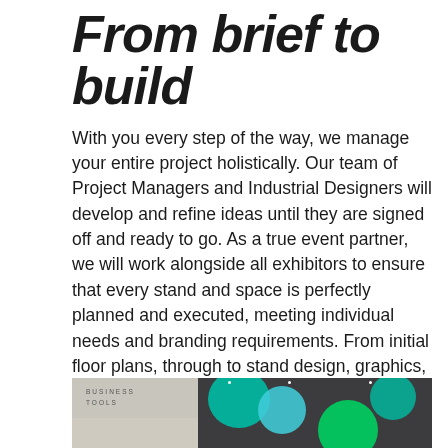From brief to build
With you every step of the way, we manage your entire project holistically. Our team of Project Managers and Industrial Designers will develop and refine ideas until they are signed off and ready to go. As a true event partner, we will work alongside all exhibitors to ensure that every stand and space is perfectly planned and executed, meeting individual needs and branding requirements. From initial floor plans, through to stand design, graphics, theming, furniture hire, freight and installation, we take care of it all.
[Figure (photo): Two side-by-side exhibition photos: left shows a white display stand with 'BUSINESS TOOLS' text; right shows large teal and green spherical decorative elements hanging from a dark ceiling structure.]